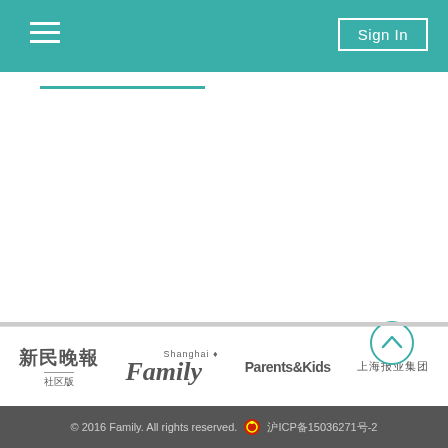Navigation bar with hamburger menu and Sign In button
[Figure (screenshot): Teal navigation bar with hamburger menu icon on left and Sign In button on right]
[Figure (logo): Partner logos: 新民晚报社区版, Shanghai Family, Parents&Kids, and a fourth Chinese publication]
© 2016 Family. All rights reserved. 沪ICP备15036271号-2